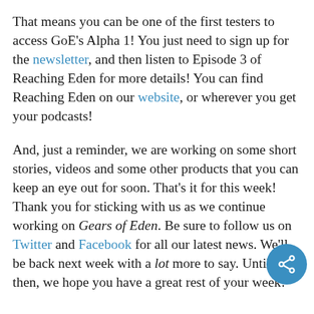That means you can be one of the first testers to access GoE's Alpha 1! You just need to sign up for the newsletter, and then listen to Episode 3 of Reaching Eden for more details! You can find Reaching Eden on our website, or wherever you get your podcasts!
And, just a reminder, we are working on some short stories, videos and some other products that you can keep an eye out for soon. That's it for this week! Thank you for sticking with us as we continue working on Gears of Eden. Be sure to follow us on Twitter and Facebook for all our latest news. We'll be back next week with a lot more to say. Until then, we hope you have a great rest of your week!